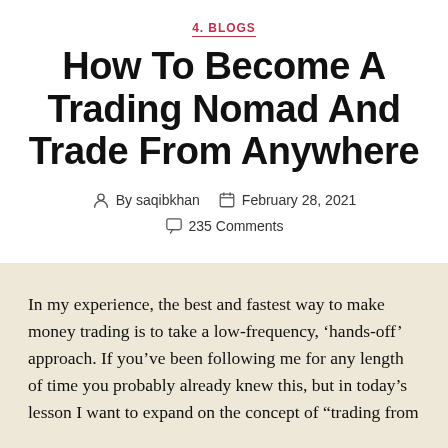4. BLOGS
How To Become A Trading Nomad And Trade From Anywhere
By saqibkhan   February 28, 2021
235 Comments
In my experience, the best and fastest way to make money trading is to take a low-frequency, ‘hands-off’ approach. If you’ve been following me for any length of time you probably already knew this, but in today’s lesson I want to expand on the concept of “trading from